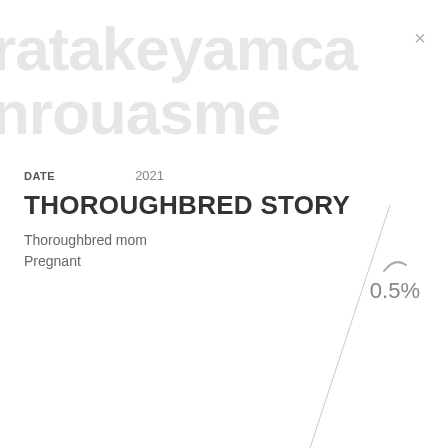[Figure (screenshot): Watermark text in large light gray letters reading partial text (appears to be part of a website or app name) across two lines in the background]
×
DATE    2021
THOROUGHBRED STORY
Thoroughbred mom
Pregnant
0.5%